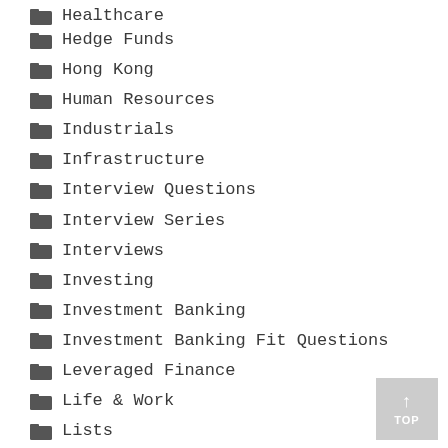Healthcare
Hedge Funds
Hong Kong
Human Resources
Industrials
Infrastructure
Interview Questions
Interview Series
Interviews
Investing
Investment Banking
Investment Banking Fit Questions
Leveraged Finance
Life & Work
Lists